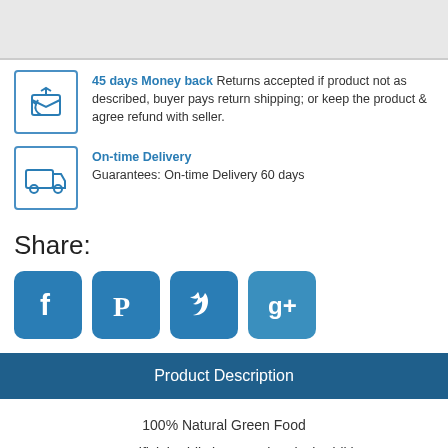45 days Money back Returns accepted if product not as described, buyer pays return shipping; or keep the product & agree refund with seller.
On-time Delivery Guarantees: On-time Delivery 60 days
Share:
[Figure (other): Social media icons: Facebook, Pinterest, Twitter, Google+]
Product Description
100% Natural Green Food
No Any Artificial Addictives or Chemical Additives